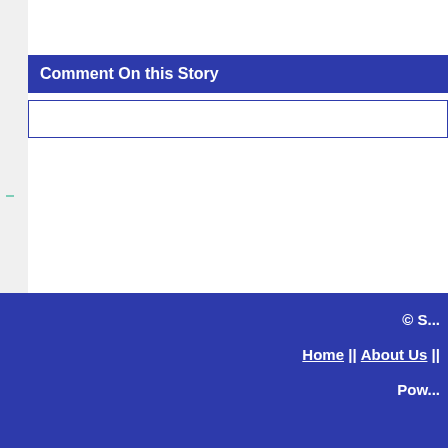Comment On this Story
© S... || Home || About Us || ... || Pow...